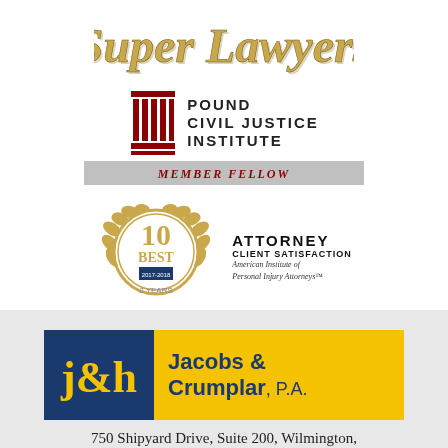[Figure (logo): Super Lawyers logo in gold serif script font]
[Figure (logo): Pound Civil Justice Institute Member Fellow badge with red column icon and grey Member Fellow banner]
[Figure (logo): 10 Best Attorney Client Satisfaction badge from American Institute of Personal Injury Attorneys, 2 Years (2017-2018), gold laurel wreath emblem]
[Figure (logo): Jacobs & Crumplar, P.A. law firm logo with dark blue left panel and gold right panel]
750 Shipyard Drive, Suite 200, Wilmington,